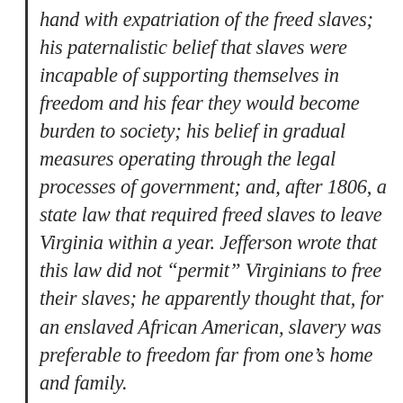hand with expatriation of the freed slaves; his paternalistic belief that slaves were incapable of supporting themselves in freedom and his fear they would become burden to society; his belief in gradual measures operating through the legal processes of government; and, after 1806, a state law that required freed slaves to leave Virginia within a year. Jefferson wrote that this law did not “permit” Virginians to free their slaves; he apparently thought that, for an enslaved African American, slavery was preferable to freedom far from one’s home and family.